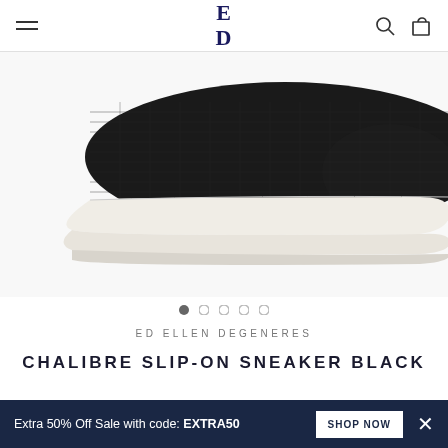ED Ellen DeGeneres — navigation header with hamburger menu, ED logo, search and bag icons
[Figure (photo): Side view of a black slip-on sneaker with white sole, shown partially cropped from the side angle against a white background]
• • • • •  (image carousel dots, first dot active)
ED ELLEN DEGENERES
CHALIBRE SLIP-ON SNEAKER BLACK
Extra 50% Off Sale with code: EXTRA50   SHOP NOW   ×